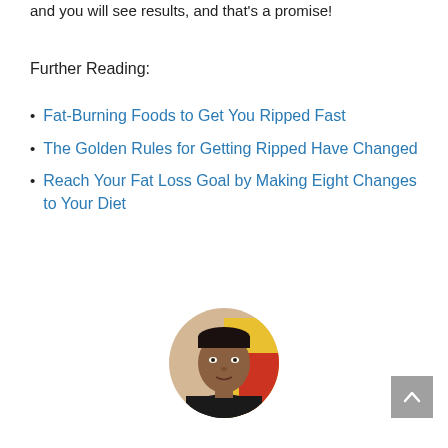and you will see results, and that's a promise!
Further Reading:
Fat-Burning Foods to Get You Ripped Fast
The Golden Rules for Getting Ripped Have Changed
Reach Your Fat Loss Goal by Making Eight Changes to Your Diet
[Figure (photo): Circular portrait photo of a man wearing a dark jacket, yellow/red background visible behind him.]